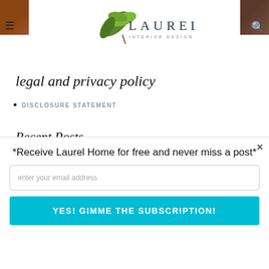LAUREL HOME — INTERIOR DESIGN | INSPIRATION | STYLE
legal and privacy policy
DISCLOSURE STATEMENT
Recent Posts
BAD FLORIDA ARCHITECTURE — A TALE OF TWO HOMES
COST-SAVING DECORATING TRICKS AND WHEN TO SPLURGE
THE NEW LAUREL HOME WEBSITE PREVIEW!
*Receive Laurel Home for free and never miss a post*
enter your email address
YES! GIMME THE SUBSCRIPTION!